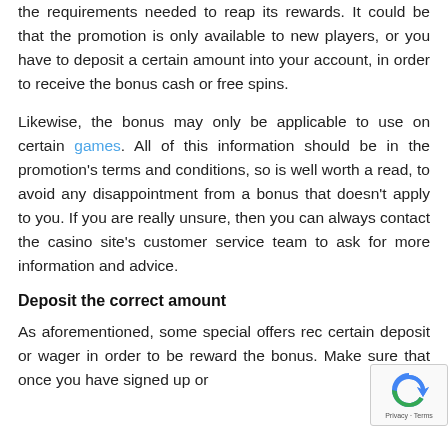the requirements needed to reap its rewards. It could be that the promotion is only available to new players, or you have to deposit a certain amount into your account, in order to receive the bonus cash or free spins.
Likewise, the bonus may only be applicable to use on certain games. All of this information should be in the promotion's terms and conditions, so is well worth a read, to avoid any disappointment from a bonus that doesn't apply to you. If you are really unsure, then you can always contact the casino site's customer service team to ask for more information and advice.
Deposit the correct amount
As aforementioned, some special offers req certain deposit or wager in order to be reward the bonus. Make sure that once you have signed up or